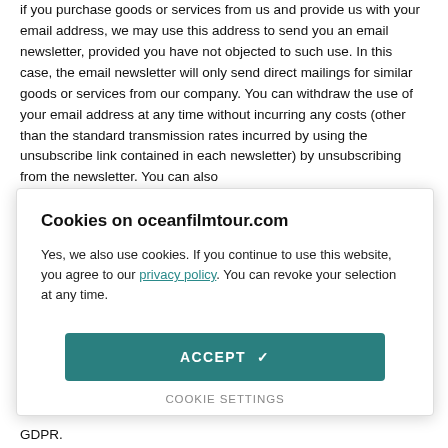if you purchase goods or services from us and provide us with your email address, we may use this address to send you an email newsletter, provided you have not objected to such use. In this case, the email newsletter will only send direct mailings for similar goods or services from our company. You can withdraw the use of your email address at any time without incurring any costs (other than the standard transmission rates incurred by using the unsubscribe link contained in each newsletter) by unsubscribing from the newsletter. You can also
Cookies on oceanfilmtour.com
Yes, we also use cookies. If you continue to use this website, you agree to our privacy policy. You can revoke your selection at any time.
ACCEPT ✓
COOKIE SETTINGS
GDPR.